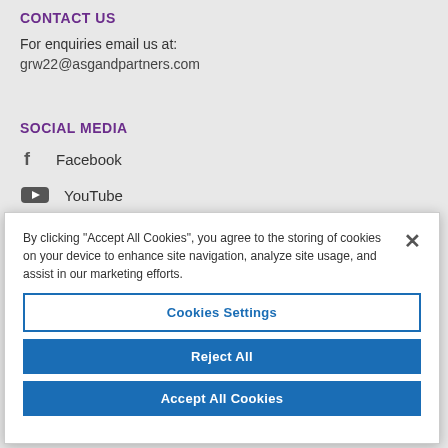CONTACT US
For enquiries email us at:
grw22@asgandpartners.com
SOCIAL MEDIA
Facebook
YouTube
Soundcloud
By clicking "Accept All Cookies", you agree to the storing of cookies on your device to enhance site navigation, analyze site usage, and assist in our marketing efforts.
Cookies Settings
Reject All
Accept All Cookies